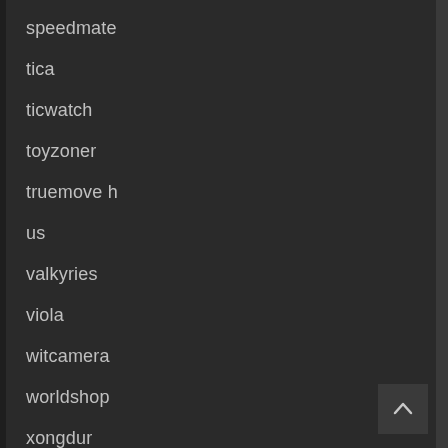speedmate
tica
ticwatch
toyzoner
truemove h
us
valkyries
viola
witcamera
worldshop
xongdur
yss
zity